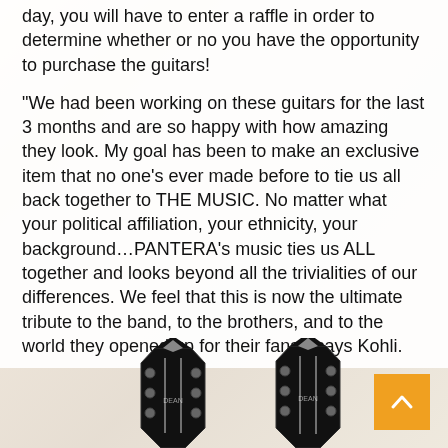day, you will have to enter a raffle in order to determine whether or no you have the opportunity to purchase the guitars!
“We had been working on these guitars for the last 3 months and are so happy with how amazing they look. My goal has been to make an exclusive item that no one’s ever made before to tie us all back together to THE MUSIC. No matter what your political affiliation, your ethnicity, your background…PANTERA’s music ties us ALL together and looks beyond all the trivialities of our differences. We feel that this is now the ultimate tribute to the band, to the brothers, and to the world they opened up for their fans.” says Kohli.
[Figure (illustration): Two black electric guitar headstocks (Dean guitars) shown at bottom of page]
[Figure (other): Orange scroll-to-top button with upward chevron arrow in bottom right corner]